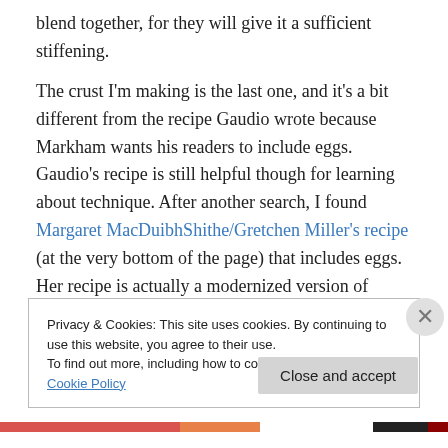blend together, for they will give it a sufficient stiffening.
The crust I'm making is the last one, and it's a bit different from the recipe Gaudio wrote because Markham wants his readers to include eggs. Gaudio's recipe is still helpful though for learning about technique. After another search, I found Margaret MacDuibhShithe/Gretchen Miller's recipe (at the very bottom of the page) that includes eggs. Her recipe is actually a modernized version of Markham's crust, so I am just going to follow her crust recipe rather than mess with figuring out proportions, and focus on the
Privacy & Cookies: This site uses cookies. By continuing to use this website, you agree to their use.
To find out more, including how to control cookies, see here: Cookie Policy